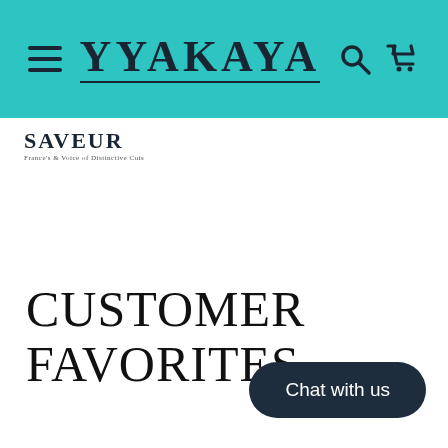WAKAYA navigation bar with hamburger menu, logo, search and cart icons
[Figure (logo): SAVEUR magazine logo with tagline]
CUSTOMER FAVORITES
Chat with us